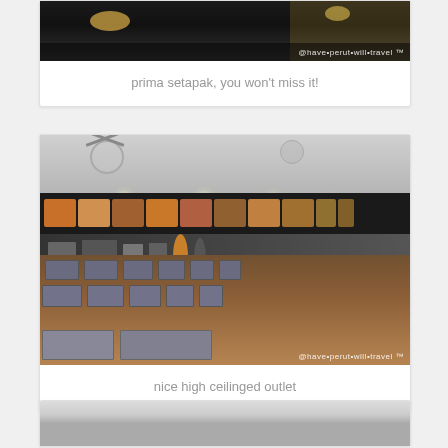[Figure (photo): Top portion of a photo showing Prima Setapak restaurant exterior at night, with watermark '@have*perut*will*travel™']
prima setapak, you won't miss it!
[Figure (photo): Interior of a food court outlet with high ceiling, ceiling fans, menu boards along the top wall, stainless steel tables and chairs, watermark '@have*perut*will*travel™']
nice high ceilinged outlet
[Figure (photo): Partial view of another interior photo showing ceiling and ceiling fan]